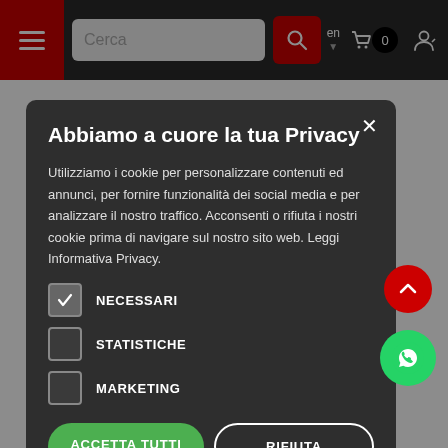[Figure (screenshot): Website navigation bar with hamburger menu (red), search box, red search button, language selector (en), cart icon with badge (0), and user icon on dark background]
Abbiamo a cuore la tua Privacy
Utilizziamo i cookie per personalizzare contenuti ed annunci, per fornire funzionalità dei social media e per analizzare il nostro traffico. Acconsenti o rifiuta i nostri cookie prima di navigare sul nostro sito web. Leggi Informativa Privacy.
NECESSARI
STATISTICHE
MARKETING
ACCETTA TUTTI
RIFIUTA
MAGGIORI DETTAGLI SUI COOKIE